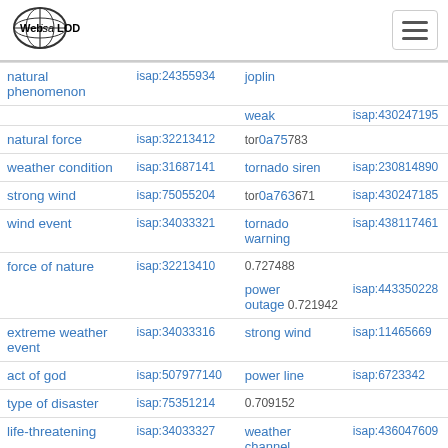[Figure (logo): Web isa LOD globe logo]
| hypernym | id | hyponym | id |
| --- | --- | --- | --- |
| natural phenomenon | isap:24355934 | joplin |  |
|  |  | weak | isap:430247195 |
| natural force | isap:32213412 | tor... 0a75783 |  |
| weather condition | isap:31687141 | tornado siren | isap:230814890 |
| strong wind | isap:75055204 | tor... 0a763671 | isap:430247185 |
| wind event | isap:34033321 | tornado warning | isap:438117461 |
| force of nature | isap:32213410 | 0.727488 |  |
|  |  | power outage | isap:443350228 |
| extreme weather event | isap:34033316 | 0.721942 |  |
|  |  | strong wind | isap:11465669 |
| act of god | isap:507977140 | 0.710018 |  |
|  |  | power line | isap:6723342 |
| type of disaster | isap:75351214 | 0.709152 |  |
|  |  | weather channel | isap:436047609 |
| life-threatening | isap:34033327 | channel |  |